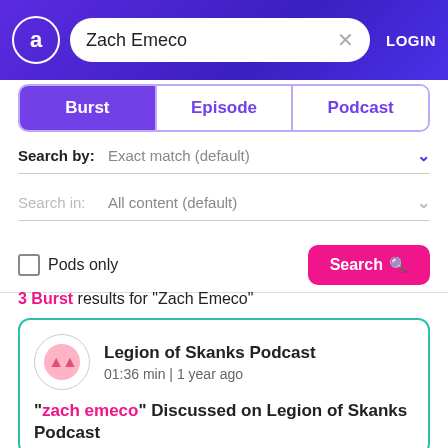[Figure (screenshot): App header with logo circle, search box containing 'Zach Emeco', X button, and LOGIN text on purple gradient background]
Burst | Episode | Podcast (tab navigation)
Search by: Exact match (default)
Search in: All content (default)
Pods only  Search
3 Burst results for "Zach Emeco"
Legion of Skanks Podcast
01:36 min | 1 year ago
"zach emeco" Discussed on Legion of Skanks Podcast